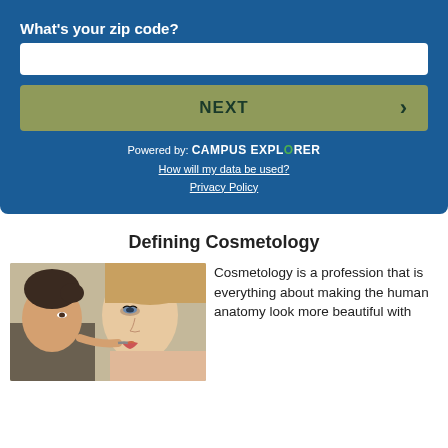What's your zip code?
[Figure (screenshot): White input box for zip code entry on blue background]
NEXT
Powered by: CAMPUS EXPLORER
How will my data be used?
Privacy Policy
Defining Cosmetology
[Figure (photo): A cosmetologist applying makeup to a woman's lips. The client has her face tilted up while the cosmetologist works on her.]
Cosmetology is a profession that is everything about making the human anatomy look more beautiful with